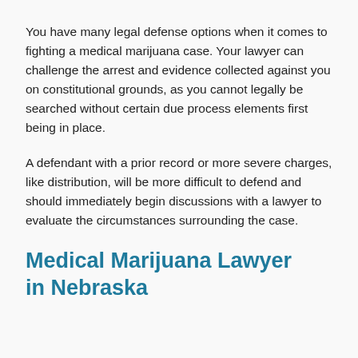You have many legal defense options when it comes to fighting a medical marijuana case. Your lawyer can challenge the arrest and evidence collected against you on constitutional grounds, as you cannot legally be searched without certain due process elements first being in place.
A defendant with a prior record or more severe charges, like distribution, will be more difficult to defend and should immediately begin discussions with a lawyer to evaluate the circumstances surrounding the case.
Medical Marijuana Lawyer in Nebraska